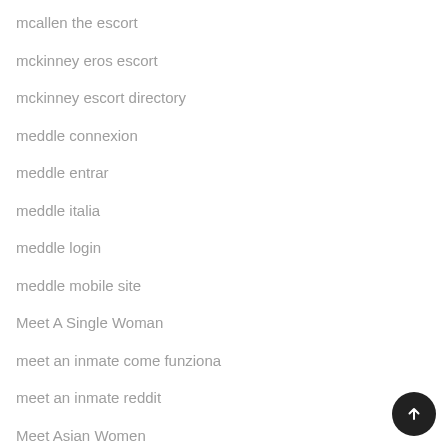mcallen the escort
mckinney eros escort
mckinney escort directory
meddle connexion
meddle entrar
meddle italia
meddle login
meddle mobile site
Meet A Single Woman
meet an inmate come funziona
meet an inmate reddit
Meet Asian Women
Meet Beautiful Brides